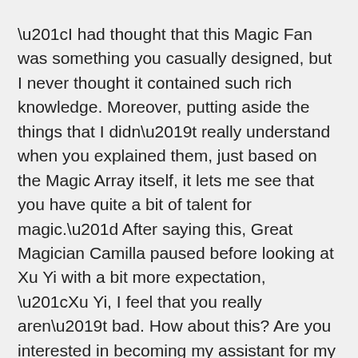“I had thought that this Magic Fan was something you casually designed, but I never thought it contained such rich knowledge. Moreover, putting aside the things that I didn’t really understand when you explained them, just based on the Magic Array itself, it lets me see that you have quite a bit of talent for magic.” After saying this, Great Magician Camilla paused before looking at Xu Yi with a bit more expectation, “Xu Yi, I feel that you really aren’t bad. How about this? Are you interested in becoming my assistant for my magical research?”
Xu Yi was instantly stunned.